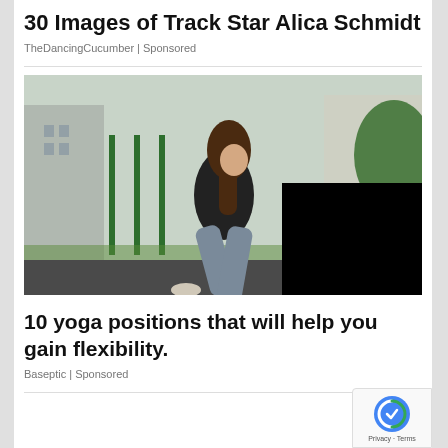30 Images of Track Star Alica Schmidt
TheDancingCucumber | Sponsored
[Figure (photo): Woman in black sports bra and grey leggings doing a lunge stretch outdoors near a green fence and city buildings]
10 yoga positions that will help you gain flexibility.
Baseptic | Sponsored